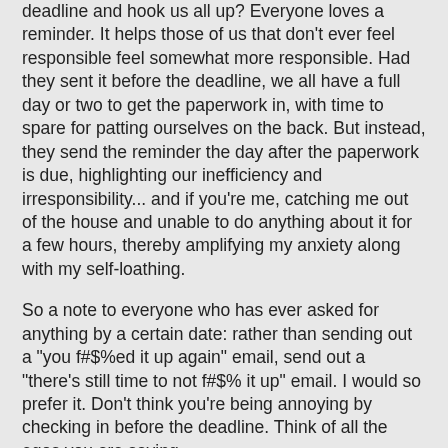deadline and hook us all up? Everyone loves a reminder. It helps those of us that don't ever feel responsible feel somewhat more responsible. Had they sent it before the deadline, we all have a full day or two to get the paperwork in, with time to spare for patting ourselves on the back. But instead, they send the reminder the day after the paperwork is due, highlighting our inefficiency and irresponsibility... and if you're me, catching me out of the house and unable to do anything about it for a few hours, thereby amplifying my anxiety along with my self-loathing.
So a note to everyone who has ever asked for anything by a certain date: rather than sending out a "you f#$%ed it up again" email, send out a "there's still time to not f#$% it up" email. I would so prefer it. Don't think you're being annoying by checking in before the deadline. Think of all the egos you are saving.
And to those who will persist with the "follow-up" email, all I am saying is, you might think you are being helpful, but I think secretly you know you're being kind of a dick.